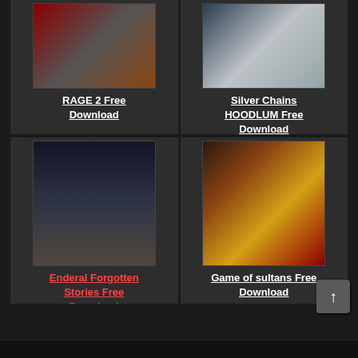[Figure (screenshot): Game listing card for RAGE 2 Free Download with dark reddish-brown game cover image]
RAGE 2 Free Download
[Figure (screenshot): Game listing card for Silver Chains HOODLUM Free Download with grey/dark game cover image]
Silver Chains HOODLUM Free Download
[Figure (screenshot): Game listing card for Enderal Forgotten Stories Free Download showing a dark atmospheric scene with wooden scaffolding structures in a misty/stormy environment]
Enderal Forgotten Stories Free Download
[Figure (screenshot): Game listing card for Game of sultans Free Download showing ornate royal characters in a fantasy Ottoman-style setting]
Game of sultans Free Download